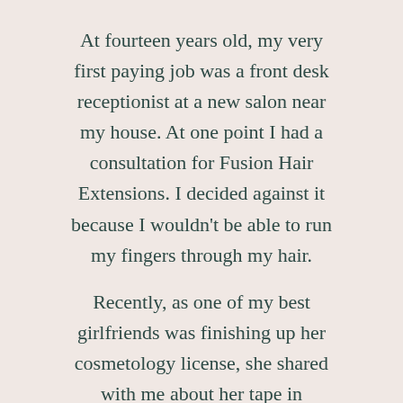At fourteen years old, my very first paying job was a front desk receptionist at a new salon near my house. At one point I had a consultation for Fusion Hair Extensions. I decided against it because I wouldn't be able to run my fingers through my hair.
Recently, as one of my best girlfriends was finishing up her cosmetology license, she shared with me about her tape in extensions. When worn down and curled they looked beautiful, but I didn't love how pronounced the tape was & how